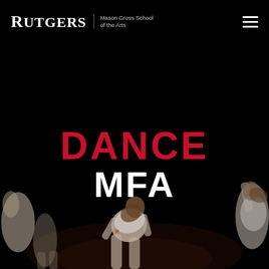Rutgers Mason Gross School of the Arts
[Figure (photo): Dark stage with dancers performing, wearing white costumes against a black background. Dancers are in motion, partially visible at bottom of frame.]
DANCE MFA